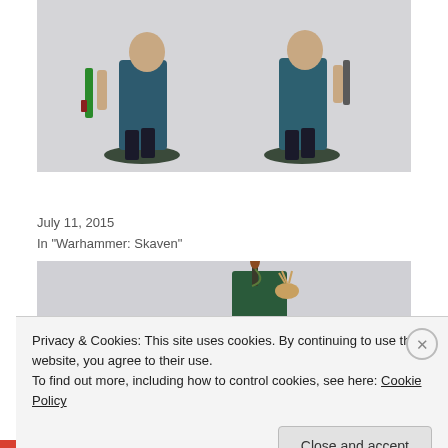[Figure (photo): Two painted Warhammer Skaven Assassin miniatures shown from the front against a light grey background, both carrying weapons and wearing robes, standing on square bases.]
Clan Eshin strike from the shadows! – Skaven Assassin
July 11, 2015
In "Warhammer: Skaven"
[Figure (photo): Partial view of a painted Warhammer miniature, showing what appears to be a creature with a feathered or tipped weapon/banner, on a green base, against a light grey background.]
Privacy & Cookies: This site uses cookies. By continuing to use this website, you agree to their use.
To find out more, including how to control cookies, see here: Cookie Policy
Close and accept